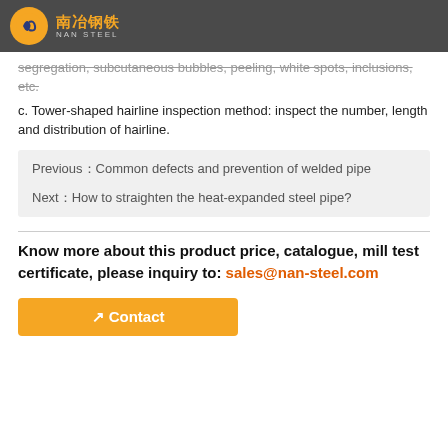南冶钢铁 NANSTEEL
segregation, subcutaneous bubbles, peeling, white spots, inclusions, etc.
c. Tower-shaped hairline inspection method: inspect the number, length and distribution of hairline.
Previous：Common defects and prevention of welded pipe
Next：How to straighten the heat-expanded steel pipe?
Know more about this product price, catalogue, mill test certificate,  please inquiry to: sales@nan-steel.com
Contact